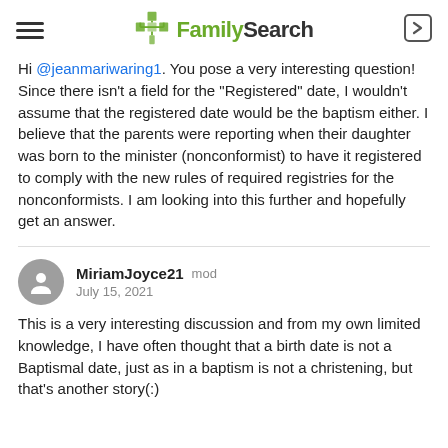FamilySearch
Hi @jeanmariwaring1. You pose a very interesting question! Since there isn't a field for the "Registered" date, I wouldn't assume that the registered date would be the baptism either. I believe that the parents were reporting when their daughter was born to the minister (nonconformist) to have it registered to comply with the new rules of required registries for the nonconformists. I am looking into this further and hopefully get an answer.
MiriamJoyce21  mod
July 15, 2021
This is a very interesting discussion and from my own limited knowledge, I have often thought that a birth date is not a Baptismal date, just as in a baptism is not a christening, but that's another story(:)